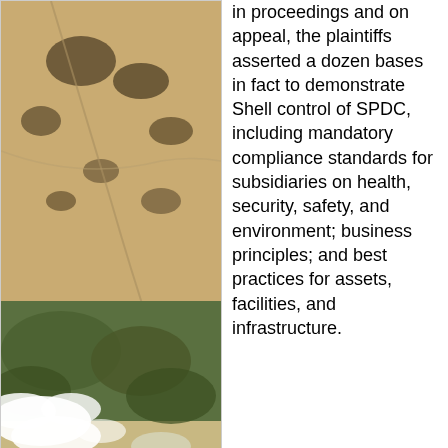[Figure (photo): Satellite photo of the Niger Delta, Nigeria, showing the coastline, delta region, and surrounding landscape from space. ESA photo CC BY-SA 3.0.]
Niger Delta, Nigeria
(ESA photo CC BY-SA 3.0)
in proceedings and on appeal, the plaintiffs asserted a dozen bases in fact to demonstrate Shell control of SPDC, including mandatory compliance standards for subsidiaries on health, security, safety, and environment; business principles; and best practices for assets, facilities, and infrastructure.  According to the plaintiffs, "[Shell's] executive remuneration scheme depended to a significant degree on the sustainable development performance of SPDC."  The plaintiffs alleged that Shell "for many years had detailed knowledge about widespread pollution in the Niger Delta caused by spillages